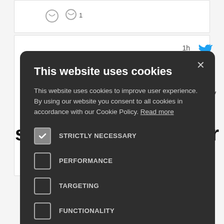[Figure (screenshot): Background screenshot of a Twitter/social media feed with icons, timestamp '1h', blue Twitter bird icon, partial text 's invaluable. undoubtedly ed so that', large bold text 'ner', and a magenta/pink image thumbnail in the lower right.]
This website uses cookies
This website uses cookies to improve user experience. By using our website you consent to all cookies in accordance with our Cookie Policy. Read more
STRICTLY NECESSARY
PERFORMANCE
TARGETING
FUNCTIONALITY
UNCLASSIFIED
ACCEPT ALL
DECLINE ALL
SHOW DETAILS